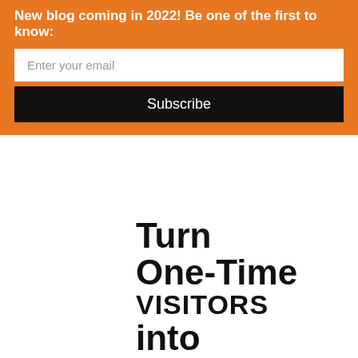New blog coming in 2022! Be one of the first to know:
Enter your email
Subscribe
Turn One-Time VISITORS into